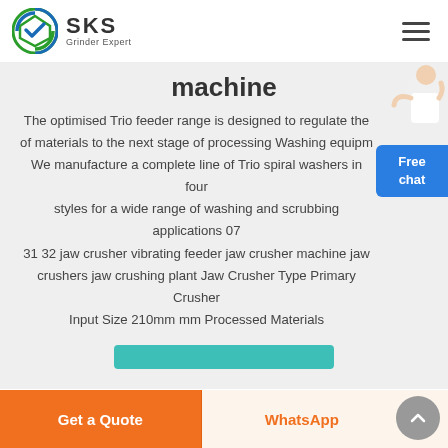SKS Grinder Expert
machine
The optimised Trio feeder range is designed to regulate the of materials to the next stage of processing Washing equipm We manufacture a complete line of Trio spiral washers in four styles for a wide range of washing and scrubbing applications 07 31 32 jaw crusher vibrating feeder jaw crusher machine jaw crushers jaw crushing plant Jaw Crusher Type Primary Crusher Input Size 210mm mm Processed Materials
[Figure (other): Free chat customer service button overlay in blue]
Get a Quote | WhatsApp